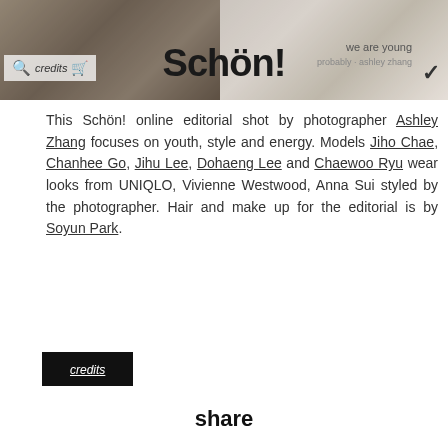[Figure (photo): Website header bar showing a fashion editorial image on the left (dark, moody tones with models in jackets) and lighter toned photo on the right. Overlaid with the Schön! magazine logo in large bold black text, a 'credits' label with search and cart icons on the left, and 'we are young' text with a chevron on the right.]
This Schön! online editorial shot by photographer Ashley Zhang focuses on youth, style and energy. Models Jiho Chae, Chanhee Go, Jihu Lee, Dohaeng Lee and Chaewoo Ryu wear looks from UNIQLO, Vivienne Westwood, Anna Sui styled by the photographer. Hair and make up for the editorial is by Soyun Park.
credits
share